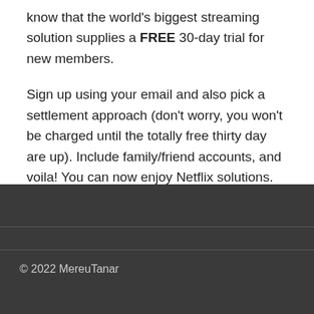know that the world's biggest streaming solution supplies a FREE 30-day trial for new members.
Sign up using your email and also pick a settlement approach (don't worry, you won't be charged until the totally free thirty day are up). Include family/friend accounts, and voila! You can now enjoy Netflix solutions. Just make sure to terminate prior to the thirty day are up so you don't get billed.
© 2022 MereuTanar